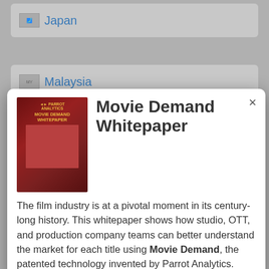Japan
Malaysia
[Figure (screenshot): Modal popup dialog showing a book cover image for 'Movie Demand Whitepaper' by Parrot Analytics, with descriptive text about the film industry.]
The film industry is at a pivotal moment in its century-long history. This whitepaper shows how studio, OTT, and production company teams can better understand the market for each title using Movie Demand, the patented technology invented by Parrot Analytics.
Mexico
Netherlands
New Zealand
Norway
Philippines
Poland